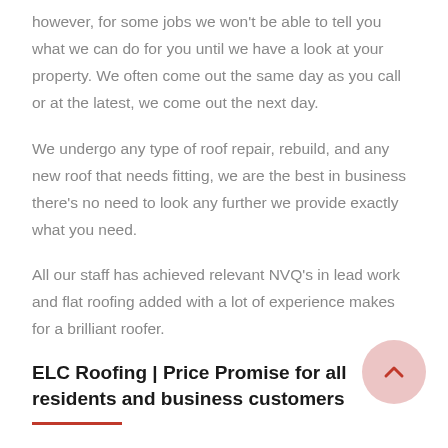however, for some jobs we won't be able to tell you what we can do for you until we have a look at your property. We often come out the same day as you call or at the latest, we come out the next day.
We undergo any type of roof repair, rebuild, and any new roof that needs fitting, we are the best in business there's no need to look any further we provide exactly what you need.
All our staff has achieved relevant NVQ's in lead work and flat roofing added with a lot of experience makes for a brilliant roofer.
ELC Roofing | Price Promise for all residents and business customers